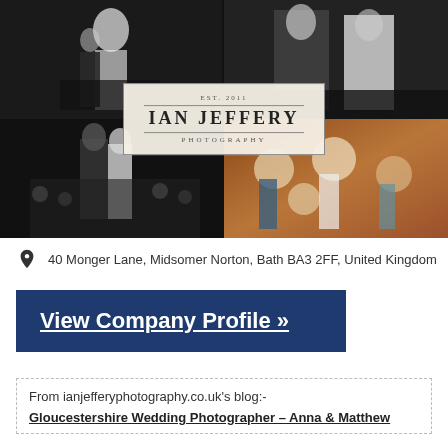[Figure (photo): Photo collage of wedding photography by Ian Jeffery Photography. Top-left: black and white photo of bride and groom dancing. Top-right: black and white photo of couple. Bottom-left: black and white photo of couple with crowd. Bottom-right: color photo of guests dancing at wedding reception. Center overlay: Ian Jeffery Photography logo.]
40 Monger Lane, Midsomer Norton, Bath BA3 2FF, United Kingdom
View Company Profile »
From ianjefferyphotography.co.uk's blog:-
Gloucestershire Wedding Photographer – Anna & Matthew